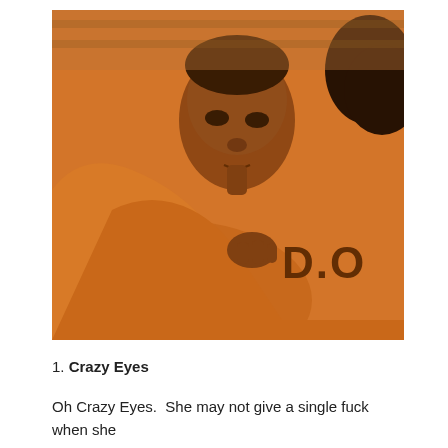[Figure (photo): Two people wearing orange prison uniforms with 'D.O.' visible on one uniform. One person with short hair looks downward resting their head on the other person's shoulder/back. The image has warm orange tones.]
1. Crazy Eyes
Oh Crazy Eyes.  She may not give a single fuck when she